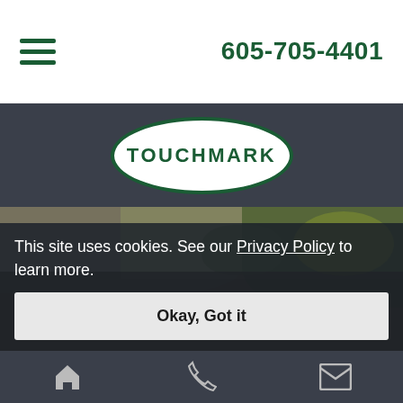605-705-4401
[Figure (logo): Touchmark oval logo with green border on dark navigation band]
[Figure (photo): Nature/garden background photo with rocks, water, and foliage]
This site uses cookies. See our Privacy Policy to learn more.
Okay, Got it
Home | Phone | Mail icons in bottom navigation bar